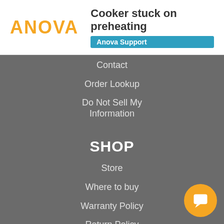Cooker stuck on preheating — Anova Support
Contact
Order Lookup
Do Not Sell My Information
SHOP
Store
Where to buy
Warranty Policy
Return Policy
RESOURCES